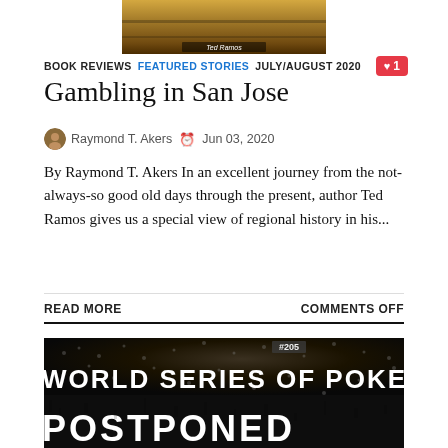[Figure (photo): Book cover photo at top of page, attributed to Ted Ramos]
BOOK REVIEWS  FEATURED STORIES  JULY/AUGUST 2020
Gambling in San Jose
Raymond T. Akers  Jun 03, 2020
By Raymond T. Akers In an excellent journey from the not-always-so good old days through the present, author Ted Ramos gives us a special view of regional history in his...
READ MORE
COMMENTS OFF
[Figure (photo): World Series of Poker Postponed banner image with crowd in background, bold white text reading WORLD SERIES OF POKER on top and POSTPONED below]